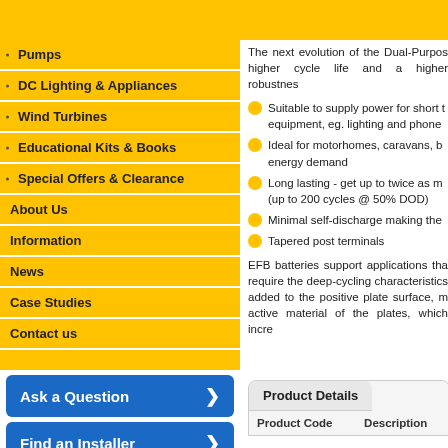Pumps
DC Lighting & Appliances
Wind Turbines
Educational Kits & Books
Special Offers & Clearance
About Us
Information
News
Case Studies
Contact us
The next evolution of the Dual-Purpose higher cycle life and a higher robustness
Suitable to supply power for short term equipment, eg. lighting and phone
Ideal for motorhomes, caravans, boats with high energy demand
Long lasting - get up to twice as many cycles (up to 200 cycles @ 50% DOD)
Minimal self-discharge making them
Tapered post terminals
EFB batteries support applications that require the deep-cycling characteristics added to the positive plate surface, m active material of the plates, which incre
Ask a Question
Find an Installer
Product Details
| Product Code | Description |
| --- | --- |